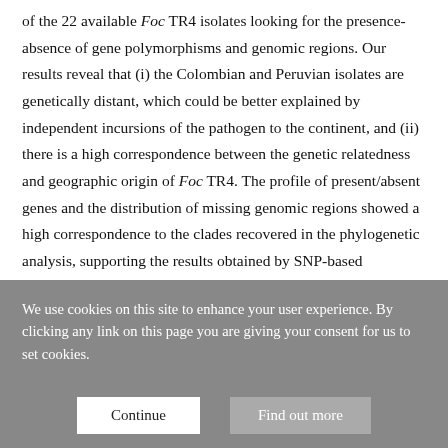of the 22 available Foc TR4 isolates looking for the presence-absence of gene polymorphisms and genomic regions. Our results reveal that (i) the Colombian and Peruvian isolates are genetically distant, which could be better explained by independent incursions of the pathogen to the continent, and (ii) there is a high correspondence between the genetic relatedness and geographic origin of Foc TR4. The profile of present/absent genes and the distribution of missing genomic regions showed a high correspondence to the clades recovered in the phylogenetic analysis, supporting the results obtained by SNP-based phylogeny.
Competing Interest Statement
We use cookies on this site to enhance your user experience. By clicking any link on this page you are giving your consent for us to set cookies.